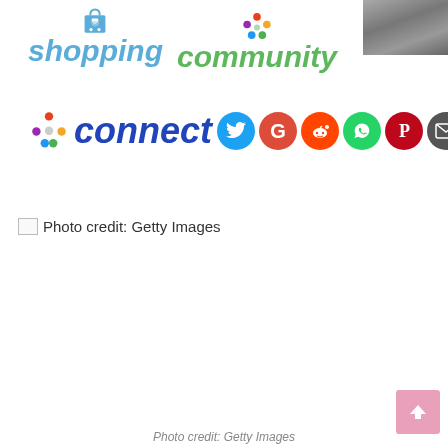[Figure (logo): Shopping icon (bag) with text 'shopping' in light blue italic, community icon (people circle) with text 'community' in green italic, partial photo in top-right corner]
[Figure (logo): Connect icon (colorful people) with text 'connect' in dark blue italic, followed by social media share buttons: Twitter (blue), Google (red), Reddit (orange), WhatsApp (green), Pinterest (dark red), Email (dark gray)]
Photo credit: Getty Images
[Figure (photo): Broken image placeholder for Getty Images photo]
Photo credit: Getty Images